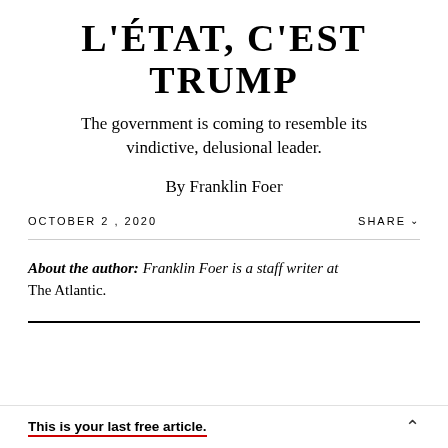L'ÉTAT, C'EST TRUMP
The government is coming to resemble its vindictive, delusional leader.
By Franklin Foer
OCTOBER 2, 2020
SHARE
About the author: Franklin Foer is a staff writer at The Atlantic.
This is your last free article.